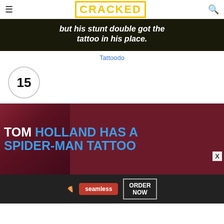CRACKED
[Figure (screenshot): Dark banner with white bold italic text reading 'but his stunt double got the tattoo in his place.']
Tattoodo
15
[Figure (screenshot): Thumbnail image with dark red background and bold blue/white text reading 'TOM HOLLAND HAS A SPIDER-MAN TATTOO']
[Figure (screenshot): Seamless food delivery advertisement with ORDER NOW button]